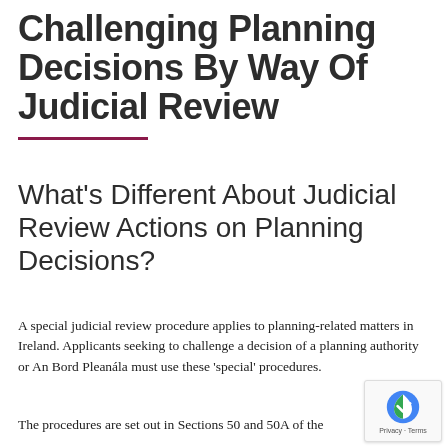Challenging Planning Decisions By Way Of Judicial Review
What's Different About Judicial Review Actions on Planning Decisions?
A special judicial review procedure applies to planning-related matters in Ireland. Applicants seeking to challenge a decision of a planning authority or An Bord Pleanála must use these 'special' procedures.
The procedures are set out in Sections 50 and 50A of the